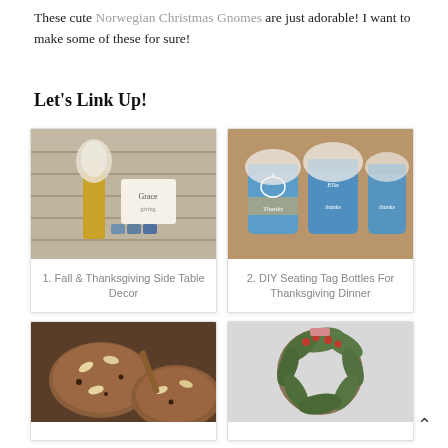These cute Norwegian Christmas Gnomes are just adorable! I want to make some of these for sure!
Let's Link Up!
[Figure (photo): Photo of Fall & Thanksgiving side table decor with gold bottle and tags]
1. Fall & Thanksgiving Side Table Decor
[Figure (photo): Photo of blue DIY mason jars with seating tags for Thanksgiving dinner]
2. DIY Seating Tag Bottles For Thanksgiving Dinner
[Figure (photo): Photo of ginger cookies with almonds on a wooden surface]
[Figure (photo): Photo of a pine wreath with red berries on a light background]